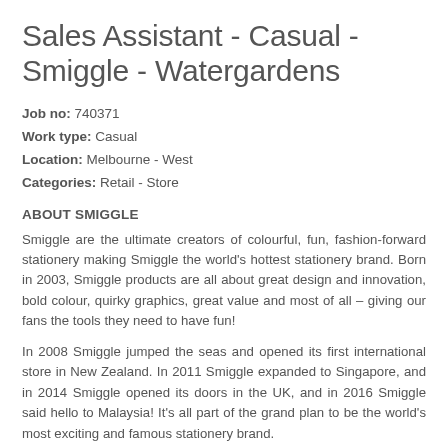Sales Assistant - Casual - Smiggle - Watergardens
Job no: 740371
Work type: Casual
Location: Melbourne - West
Categories: Retail - Store
ABOUT SMIGGLE
Smiggle are the ultimate creators of colourful, fun, fashion-forward stationery making Smiggle the world's hottest stationery brand. Born in 2003, Smiggle products are all about great design and innovation, bold colour, quirky graphics, great value and most of all – giving our fans the tools they need to have fun!
In 2008 Smiggle jumped the seas and opened its first international store in New Zealand. In 2011 Smiggle expanded to Singapore, and in 2014 Smiggle opened its doors in the UK, and in 2016 Smiggle said hello to Malaysia! It's all part of the grand plan to be the world's most exciting and famous stationery brand.